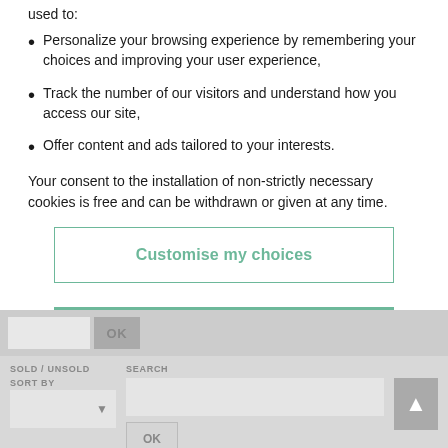used to:
Personalize your browsing experience by remembering your choices and improving your user experience,
Track the number of our visitors and understand how you access our site,
Offer content and ads tailored to your interests.
Your consent to the installation of non-strictly necessary cookies is free and can be withdrawn or given at any time.
[Figure (screenshot): Cookie consent dialog with two buttons: 'Customise my choices' (outline button with green text) and 'Accept all' (solid green button). Below is a greyed-out web interface showing SOLD/UNSOLD dropdown, SEARCH input, OK button, and an up-arrow navigation button.]